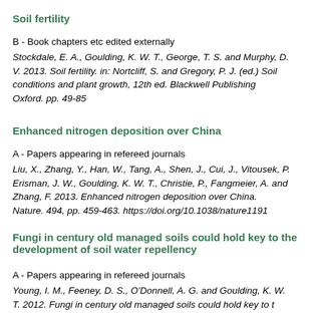Soil fertility
B - Book chapters etc edited externally
Stockdale, E. A., Goulding, K. W. T., George, T. S. and Murphy, D. V. 2013. Soil fertility. in: Nortcliff, S. and Gregory, P. J. (ed.) Soil conditions and plant growth, 12th ed. Blackwell Publishing Oxford. pp. 49-85
Enhanced nitrogen deposition over China
A - Papers appearing in refereed journals
Liu, X., Zhang, Y., Han, W., Tang, A., Shen, J., Cui, J., Vitousek, P., Erisman, J. W., Goulding, K. W. T., Christie, P., Fangmeier, A. and Zhang, F. 2013. Enhanced nitrogen deposition over China. Nature. 494, pp. 459-463. https://doi.org/10.1038/nature1191
Fungi in century old managed soils could hold key to the development of soil water repellency
A - Papers appearing in refereed journals
Young, I. M., Feeney, D. S., O'Donnell, A. G. and Goulding, K. W. T. 2012. Fungi in century old managed soils could hold key to t